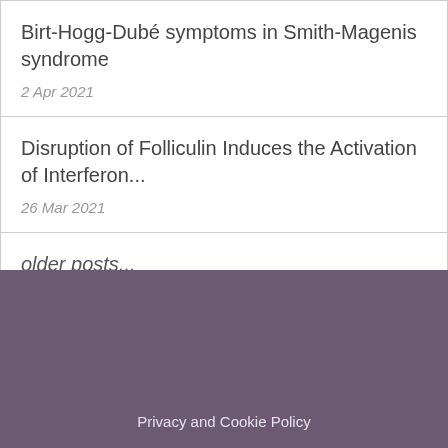Birt-Hogg-Dubé symptoms in Smith-Magenis syndrome
2 Apr 2021
Disruption of Folliculin Induces the Activation of Interferon...
26 Mar 2021
older posts...
Privacy and Cookie Policy